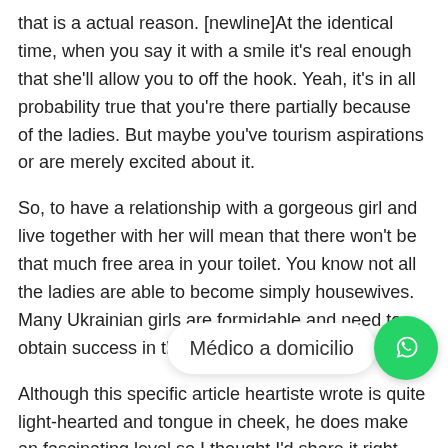that is a actual reason. [newline]At the identical time, when you say it with a smile it's real enough that she'll allow you to off the hook. Yeah, it's in all probability true that you're there partially because of the ladies. But maybe you've tourism aspirations or are merely excited about it.
So, to have a relationship with a gorgeous girl and live together with her will mean that there won't be that much free area in your toilet. You know not all the ladies are able to become simply housewives. Many Ukrainian girls are formidable and need to obtain success in their lives as well.
Although this specific article heartiste wrote is quite light-hearted and tongue in cheek, he does make an fascinating level so I thought I'd share it right here. I assume everybody has their o[...] niche to search for potential partners, however the elementary faculty instructor does seem like a distinct
[Figure (other): WhatsApp contact button overlay with label 'Médico a domicilio']